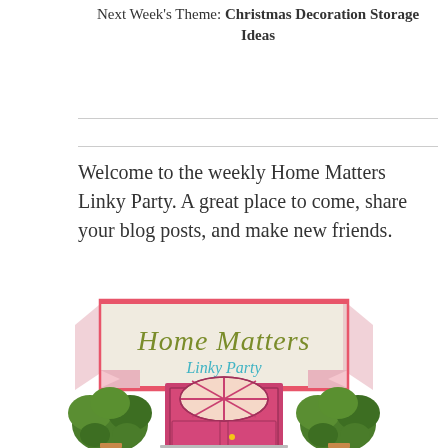Next Week's Theme: Christmas Decoration Storage Ideas
[Figure (illustration): Home Matters Linky Party logo featuring a banner/ribbon with 'Home Matters' in olive/green script and 'Linky Party' in teal script, with a pink front door with cross-hatch window panels below, flanked by green topiary bushes.]